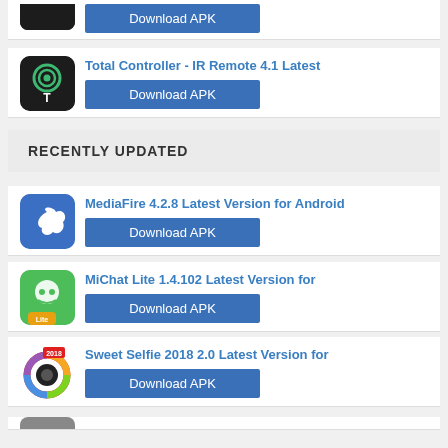[Figure (screenshot): Partial app icon at top (cropped)]
Download APK
[Figure (screenshot): Total Controller - IR Remote app icon]
Total Controller - IR Remote 4.1 Latest
Download APK
RECENTLY UPDATED
[Figure (screenshot): MediaFire app icon]
MediaFire 4.2.8 Latest Version for Android
Download APK
[Figure (screenshot): MiChat Lite app icon]
MiChat Lite 1.4.102 Latest Version for
Download APK
[Figure (screenshot): Sweet Selfie 2018 app icon]
Sweet Selfie 2018 2.0 Latest Version for
Download APK